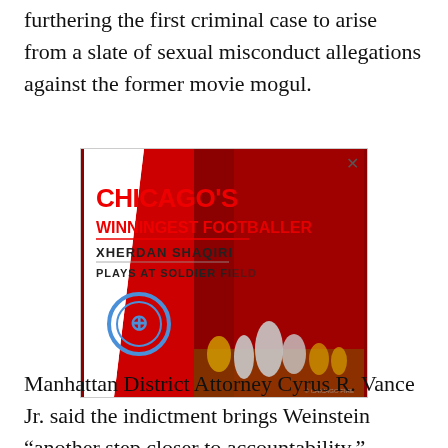furthering the first criminal case to arise from a slate of sexual misconduct allegations against the former movie mogul.
[Figure (illustration): Advertisement for Chicago Fire FC featuring Xherdan Shaqiri. Red background with trophies. Text: CHICAGO'S WINNINGEST FOOTBALLER, XHERDAN SHAQIRI, PLAYS AT SOLDIER FIELD. Chicago Fire FC logo shown.]
Manhattan District Attorney Cyrus R. Vance Jr. said the indictment brings Weinstein “another step closer to accountability.”